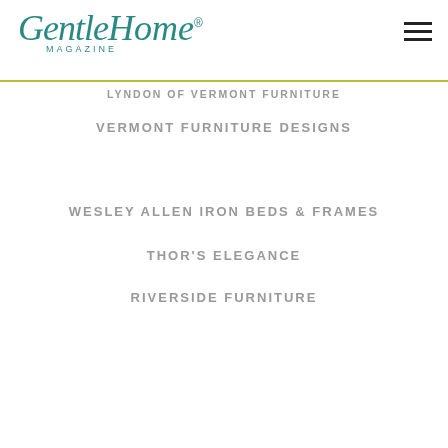[Figure (logo): GentleHome Magazine logo in teal/dark cyan cursive script with MAGAZINE in spaced uppercase letters below]
LYNDON OF VERMONT FURNITURE
VERMONT FURNITURE DESIGNS
WESLEY ALLEN IRON BEDS & FRAMES
THOR'S ELEGANCE
RIVERSIDE FURNITURE